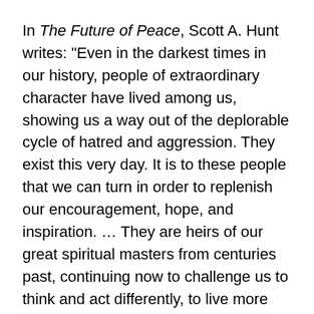In The Future of Peace, Scott A. Hunt writes: "Even in the darkest times in our history, people of extraordinary character have lived among us, showing us a way out of the deplorable cycle of hatred and aggression. They exist this very day. It is to these people that we can turn in order to replenish our encouragement, hope, and inspiration. … They are heirs of our great spiritual masters from centuries past, continuing now to challenge us to think and act differently, to live more productively and harmoniously."
This section of The Practicing Democracy Project lifts up some of these leaders, as well as outstanding writers, philosophers, poets, and other visionaries. We encourage you to explore how they